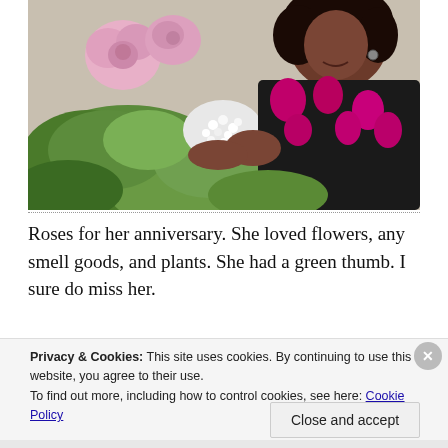[Figure (photo): A woman holding a large bouquet of flowers including pink roses, white flowers, and green leaves. She is wearing a dark floral top with magenta/pink flowers.]
Roses for her anniversary. She loved flowers, any smell goods, and plants. She had a green thumb. I sure do miss her.
Privacy & Cookies: This site uses cookies. By continuing to use this website, you agree to their use. To find out more, including how to control cookies, see here: Cookie Policy